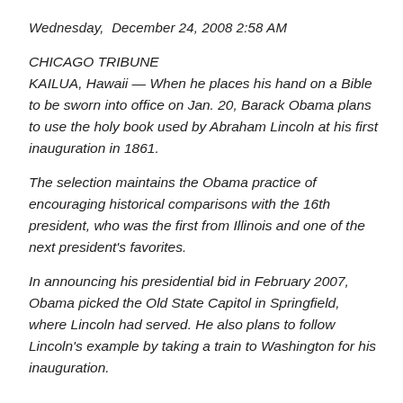Wednesday,  December 24, 2008 2:58 AM
CHICAGO TRIBUNE
KAILUA, Hawaii — When he places his hand on a Bible to be sworn into office on Jan. 20, Barack Obama plans to use the holy book used by Abraham Lincoln at his first inauguration in 1861.
The selection maintains the Obama practice of encouraging historical comparisons with the 16th president, who was the first from Illinois and one of the next president's favorites.
In announcing his presidential bid in February 2007, Obama picked the Old State Capitol in Springfield, where Lincoln had served. He also plans to follow Lincoln's example by taking a train to Washington for his inauguration.